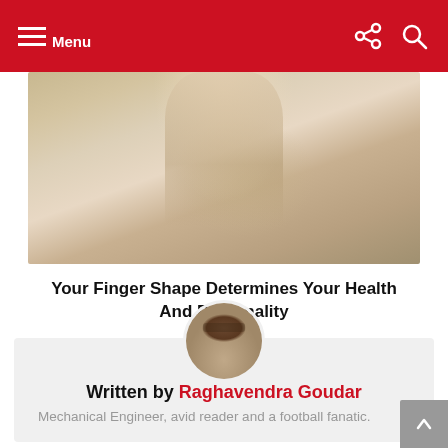Menu
[Figure (photo): Close-up photo of a human finger tip showing skin texture and nail]
Your Finger Shape Determines Your Health And Personality
[Figure (photo): Circular avatar photo of Raghavendra Goudar, a man wearing glasses]
Written by Raghavendra Goudar
Mechanical Engineer, avid reader and a football fanatic.
MORE FROM: AEK ATHENS